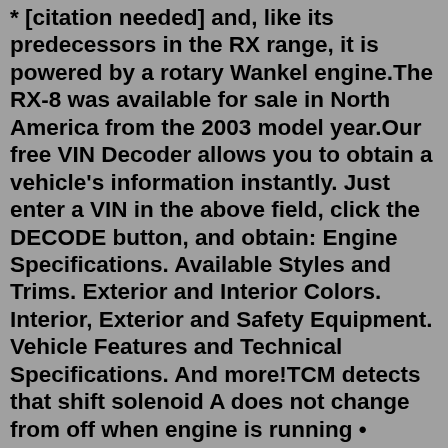* [citation needed] and, like its predecessors in the RX range, it is powered by a rotary Wankel engine.The RX-8 was available for sale in North America from the 2003 model year.Our free VIN Decoder allows you to obtain a vehicle's information instantly. Just enter a VIN in the above field, click the DECODE button, and obtain: Engine Specifications. Available Styles and Trims. Exterior and Interior Colors. Interior, Exterior and Safety Equipment. Vehicle Features and Technical Specifications. And more!TCM detects that shift solenoid A does not change from off when engine is running • Inhibits 4GR, 5GR and 6GR • Inhibits 1GR and 2GR (manual mode) P0752. Shift solenoid A malfunction (stuck on) • TCM detects that shift solenoid A does not change from on when engine is running. N/A. P0756. Shift solenoid B malfunction (stuck off) • May 25, 2017 · Hello. 1st thing to try a reset of the system. By removing the BTN fuse (in the engine bay) for 30sec and hold the brake pedal down for 30sec. 1. re-enable the auto power window by fully raise and lower each window 2. restore DSC (DSC